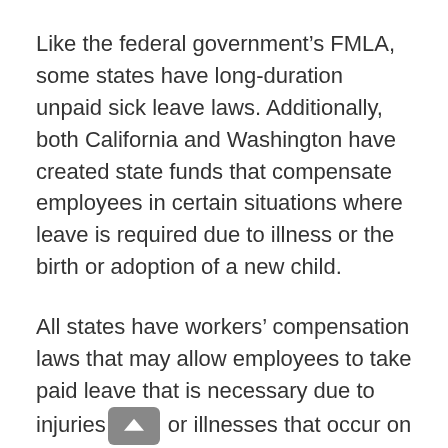Like the federal government's FMLA, some states have long-duration unpaid sick leave laws. Additionally, both California and Washington have created state funds that compensate employees in certain situations where leave is required due to illness or the birth or adoption of a new child.
All states have workers' compensation laws that may allow employees to take paid leave that is necessary due to injuries or illnesses that occur on the job.
Below are links to state-specific pages discussing each state's sick leave requirements: